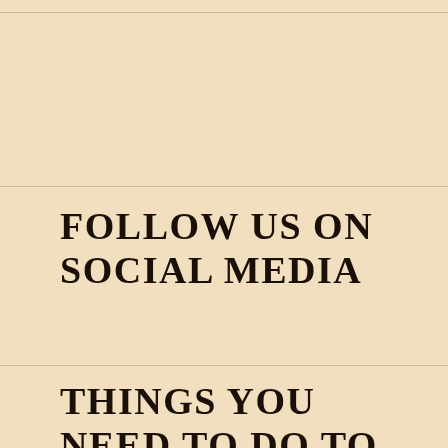FOLLOW US ON SOCIAL MEDIA
THINGS YOU NEED TO DO TO MAKE CUSTOMERS